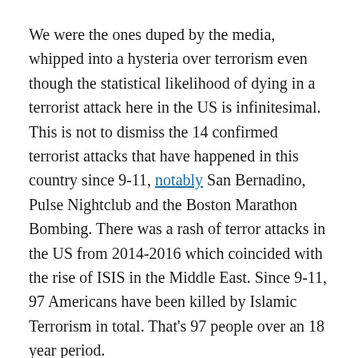We were the ones duped by the media, whipped into a hysteria over terrorism even though the statistical likelihood of dying in a terrorist attack here in the US is infinitesimal. This is not to dismiss the 14 confirmed terrorist attacks that have happened in this country since 9-11, notably San Bernadino, Pulse Nightclub and the Boston Marathon Bombing. There was a rash of terror attacks in the US from 2014-2016 which coincided with the rise of ISIS in the Middle East. Since 9-11, 97 Americans have been killed by Islamic Terrorism in total. That's 97 people over an 18 year period.
Again, this is not to completely dismiss terrorism and trivialize those 97 people that died (and the additional people injured), but it is to say that media coverage of terrorist attacks has caused us to perceive terrorism as a far greater threat to ourselves than it truly is. And you could even go further and say that this media fueled